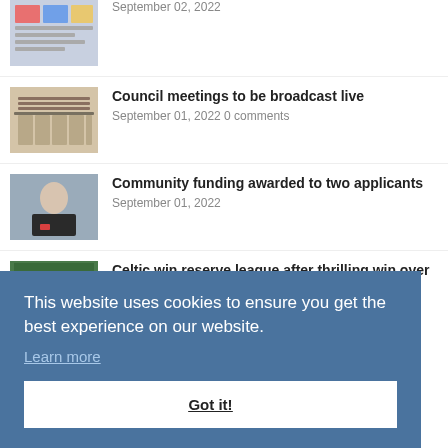September 02, 2022
Council meetings to be broadcast live
September 01, 2022 0 comments
Community funding awarded to two applicants
September 01, 2022
Celtic win reserve league after thrilling win over Whitedale
August 31, 2022 0 comments
This website uses cookies to ensure you get the best experience on our website.
Learn more
Got it!